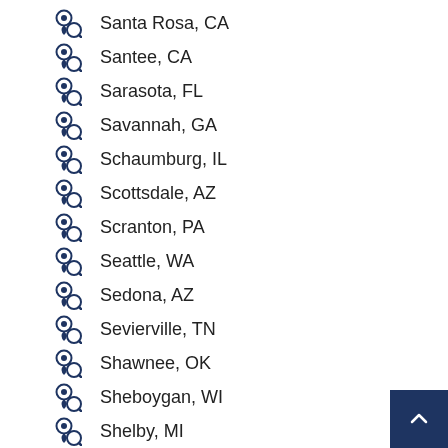Santa Rosa, CA
Santee, CA
Sarasota, FL
Savannah, GA
Schaumburg, IL
Scottsdale, AZ
Scranton, PA
Seattle, WA
Sedona, AZ
Sevierville, TN
Shawnee, OK
Sheboygan, WI
Shelby, MI